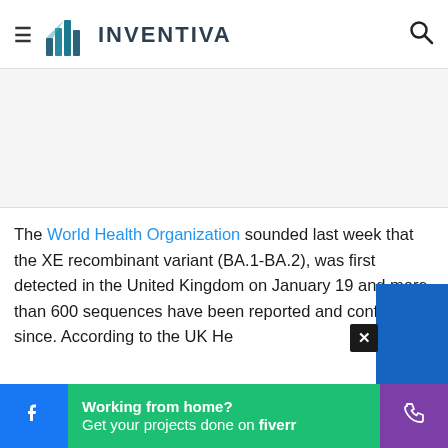INVENTIVA
[Figure (other): Advertisement placeholder area, light gray background]
The World Health Organization sounded last week that the XE recombinant variant (BA.1-BA.2), was first detected in the United Kingdom on January 19 and more than 600 sequences have been reported and confirmed since. According to the UK He...
Working from home? Get your projects done on fiverr